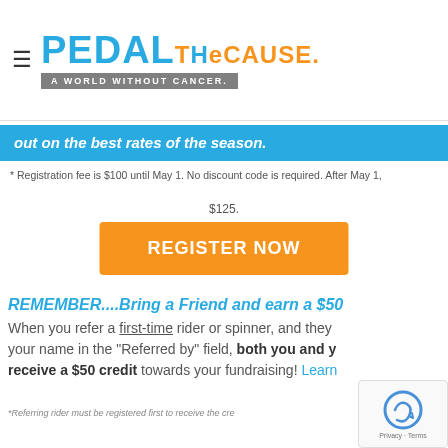[Figure (logo): Pedal the Cause logo with tagline 'A World Without Cancer.']
out on the best rates of the season.
* Registration fee is $100 until May 1. No discount code is required. After May 1,
$125.
REGISTER NOW
REMEMBER....Bring a Friend and earn a $50
When you refer a first-time rider or spinner, and they put your name in the "Referred by" field, both you and y receive a $50 credit towards your fundraising! Learn
*Referring rider must be registered first to receive the cre